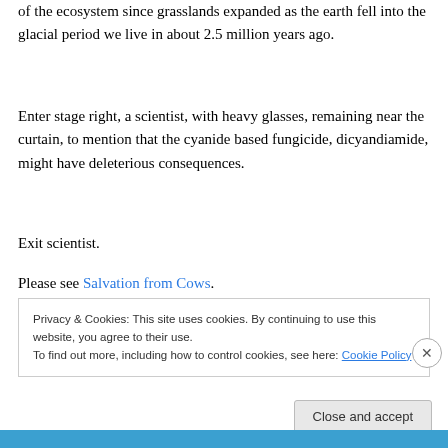of the ecosystem since grasslands expanded as the earth fell into the glacial period we live in about 2.5 million years ago.
Enter stage right, a scientist, with heavy glasses, remaining near the curtain, to mention that the cyanide based fungicide, dicyandiamide, might have deleterious consequences.
Exit scientist.
Please see Salvation from Cows.
Privacy & Cookies: This site uses cookies. By continuing to use this website, you agree to their use.
To find out more, including how to control cookies, see here: Cookie Policy
Close and accept